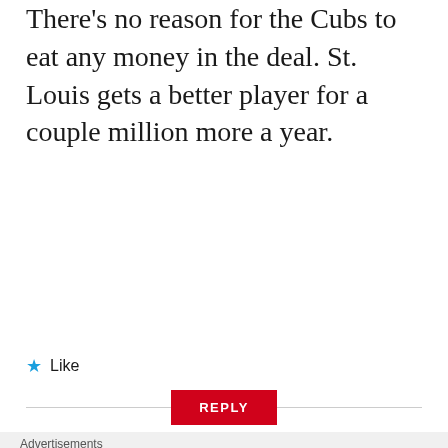There's no reason for the Cubs to eat any money in the deal. St. Louis gets a better player for a couple million more a year.
★ Like
REPLY
Advertisements
[Figure (other): WordPress VIP advertisement banner with orange gradient background and 'Learn more →' button]
REPORT THIS AD
Advertisements
[Figure (other): DuckDuckGo advertisement banner: 'Search, browse, and email with more privacy. All in One Free App' with DuckDuckGo logo]